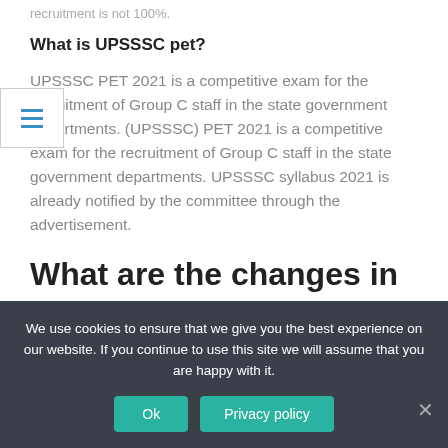recruitment is not 100%.
What is UPSSSC pet?
UPSSSC PET 2021 is a competitive exam for the recruitment of Group C staff in the state government departments. (UPSSSC) PET 2021 is a competitive exam for the recruitment of Group C staff in the state government departments. UPSSSC syllabus 2021 is already notified by the committee through the advertisement.
What are the changes in the UPSSSC syllabus 2022
We use cookies to ensure that we give you the best experience on our website. If you continue to use this site we will assume that you are happy with it.